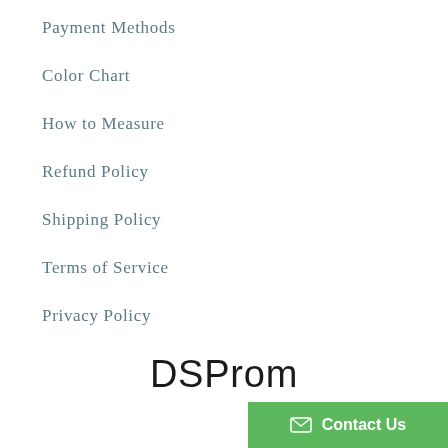Payment Methods
Color Chart
How to Measure
Refund Policy
Shipping Policy
Terms of Service
Privacy Policy
[Figure (logo): DSProm handwritten logo text]
Contact Us